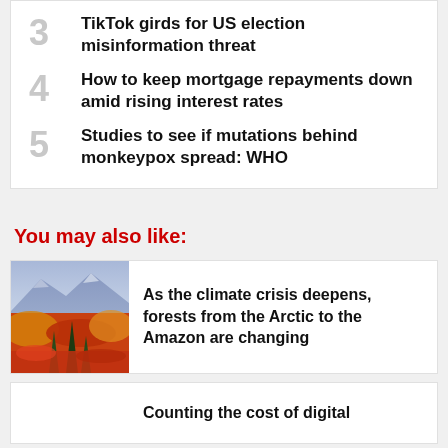3. TikTok girds for US election misinformation threat
4. How to keep mortgage repayments down amid rising interest rates
5. Studies to see if mutations behind monkeypox spread: WHO
You may also like:
[Figure (photo): Autumn forest landscape with mountains, colorful red and orange foliage, and evergreen trees in foreground]
As the climate crisis deepens, forests from the Arctic to the Amazon are changing
Counting the cost of digital